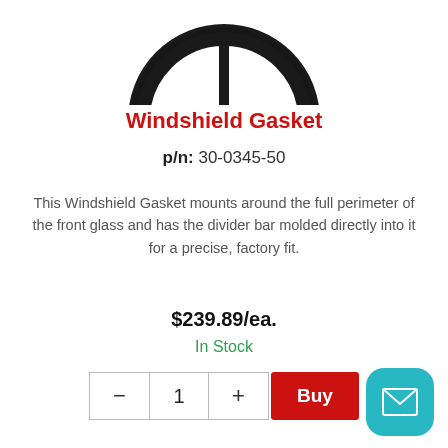[Figure (photo): Top portion of a circular windshield gasket product photo (black rubber ring), cropped at the top of the page]
Windshield Gasket
p/n: 30-0345-50
This Windshield Gasket mounts around the full perimeter of the front glass and has the divider bar molded directly into it for a precise, factory fit.
$239.89/ea.
In Stock
[Figure (other): Quantity selector with minus, 1, plus buttons and a red Buy button]
[Figure (photo): Bottom portion of the page showing a curved black rubber windshield gasket strip product photo, partially visible]
[Figure (other): Teal/cyan rounded square mail/contact button in the bottom right corner with envelope icon]